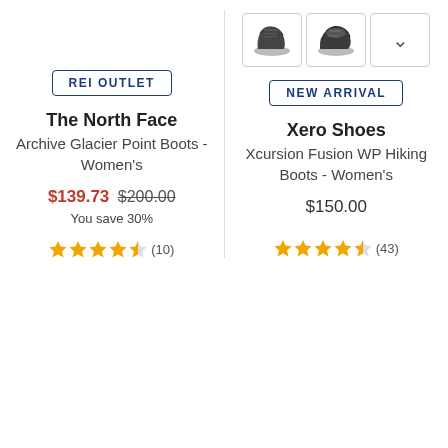[Figure (photo): Two thumbnail images of Xero Shoes Xcursion Fusion WP Hiking Boots, dark/black boots, with a chevron/dropdown button]
REI OUTLET
NEW ARRIVAL
The North Face
Archive Glacier Point Boots - Women's
Xero Shoes
Xcursion Fusion WP Hiking Boots - Women's
$139.73 $200.00 You save 30%
$150.00
★★★★½ (10)
★★★★½ (43)